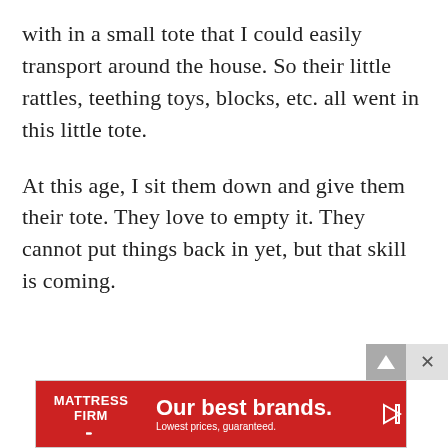with in a small tote that I could easily transport around the house. So their little rattles, teething toys, blocks, etc. all went in this little tote.
At this age, I sit them down and give them their tote. They love to empty it. They cannot put things back in yet, but that skill is coming.
[Figure (other): Mattress Firm advertisement banner. Red background with white text reading 'Our best brands. Lowest prices, guaranteed.' with Mattress Firm logo on left. Play and close controls visible.]